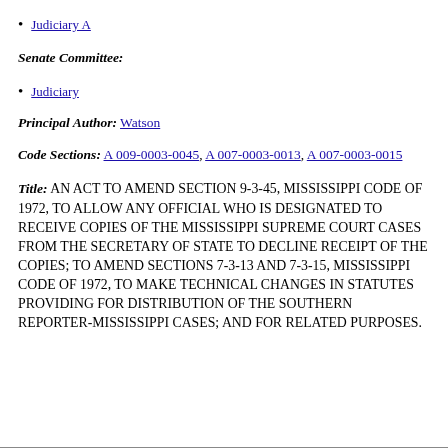Judiciary A
Senate Committee:
Judiciary
Principal Author: Watson
Code Sections: A 009-0003-0045, A 007-0003-0013, A 007-0003-0015
Title: AN ACT TO AMEND SECTION 9-3-45, MISSISSIPPI CODE OF 1972, TO ALLOW ANY OFFICIAL WHO IS DESIGNATED TO RECEIVE COPIES OF THE MISSISSIPPI SUPREME COURT CASES FROM THE SECRETARY OF STATE TO DECLINE RECEIPT OF THE COPIES; TO AMEND SECTIONS 7-3-13 AND 7-3-15, MISSISSIPPI CODE OF 1972, TO MAKE TECHNICAL CHANGES IN STATUTES PROVIDING FOR DISTRIBUTION OF THE SOUTHERN REPORTER-MISSISSIPPI CASES; AND FOR RELATED PURPOSES.